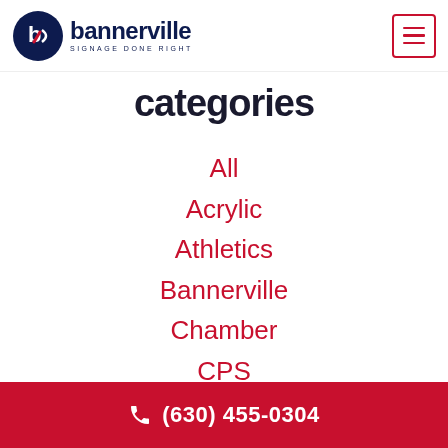[Figure (logo): Bannerville logo with circular icon and text 'bannerville SIGNAGE DONE RIGHT']
categories
All
Acrylic
Athletics
Bannerville
Chamber
CPS
Design
Education
(630) 455-0304